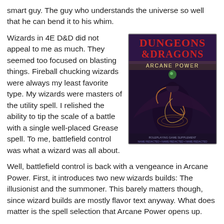smart guy.  The guy who understands the universe so well that he can bend it to his whim.
Wizards in 4E D&D did not appeal to me as much.  They seemed too focused on blasting things.  Fireball chucking wizards were always my least favorite type.  My wizards were masters of the utility spell.  I relished the ability to tip the scale of a battle with a single well-placed Grease spell.  To me, battlefield control was what a wizard was all about.
[Figure (illustration): Cover of Dungeons & Dragons Arcane Power book showing a dark winged figure with magical energy swirling around them, with the title 'DUNGEONS & DRAGONS ARCANE POWER' at the top]
Well, battlefield control is back with a vengeance in Arcane Power.   First, it introduces two new wizards builds: The illusionist and the summoner.  This  barely matters though, since wizard builds are mostly flavor text anyway.  What does matter is the spell selection that Arcane Power opens up.